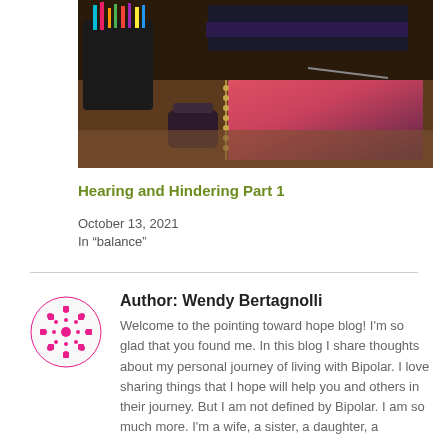[Figure (photo): Photo of a desk with a colorful pencil/marker cup, stacked books, a spiral-bound notebook with decorative cover, and a small decorative item on a wooden surface.]
Hearing and Hindering Part 1
October 13, 2021
In "balance"
Author: Wendy Bertagnolli
Welcome to the pointing toward hope blog! I'm so glad that you found me. In this blog I share thoughts about my personal journey of living with Bipolar. I love sharing things that I hope will help you and others in their journey. But I am not defined by Bipolar. I am so much more. I'm a wife, a sister, a daughter, a